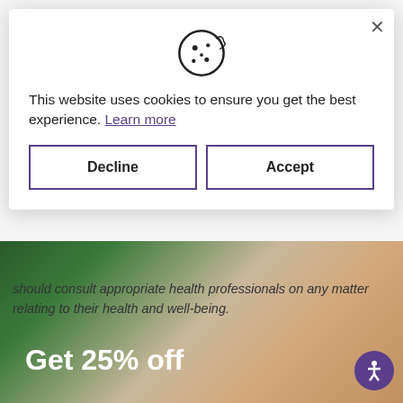[Figure (screenshot): Cookie consent dialog overlay on a health/wellness website. Contains a cookie icon, consent text, Learn more link, and Decline/Accept buttons. Behind the overlay, partially visible italic text about consulting health professionals, and a promotional banner with 'Get 25% off' text over a photo of a woman with plants.]
This website uses cookies to ensure you get the best experience. Learn more
should consult appropriate health professionals on any matter relating to their health and well-being.
Get 25% off